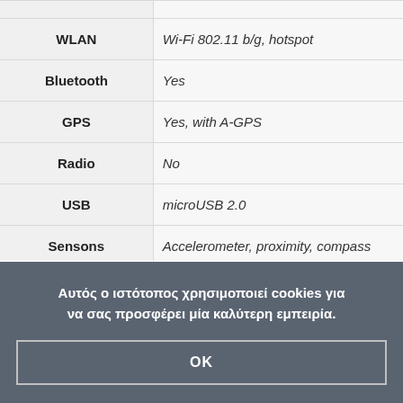| Feature | Details |
| --- | --- |
| WLAN | Wi-Fi 802.11 b/g, hotspot |
| Bluetooth | Yes |
| GPS | Yes, with A-GPS |
| Radio | No |
| USB | microUSB 2.0 |
| Sensons | Accelerometer, proximity, compass |
| Media | TouchWiz UI v4.0 |
Αυτός ο ιστότοπος χρησιμοποιεί cookies για να σας προσφέρει μία καλύτερη εμπειρία.
OK